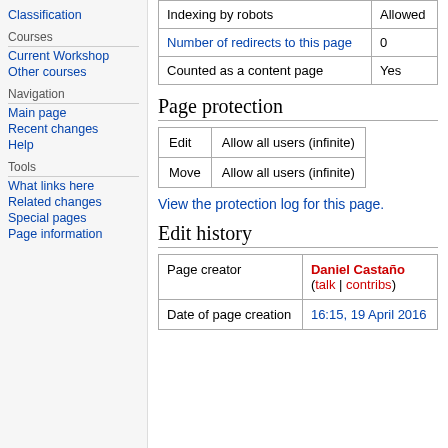Classification
Courses
Current Workshop
Other courses
Navigation
Main page
Recent changes
Help
Tools
What links here
Related changes
Special pages
Page information
|  |  |
| --- | --- |
| Indexing by robots | Allowed |
| Number of redirects to this page | 0 |
| Counted as a content page | Yes |
Page protection
| Edit | Move |
| --- | --- |
| Edit | Allow all users (infinite) |
| Move | Allow all users (infinite) |
View the protection log for this page.
Edit history
|  |  |
| --- | --- |
| Page creator | Daniel Castaño (talk | contribs) |
| Date of page creation | 16:15, 19 April 2016 |